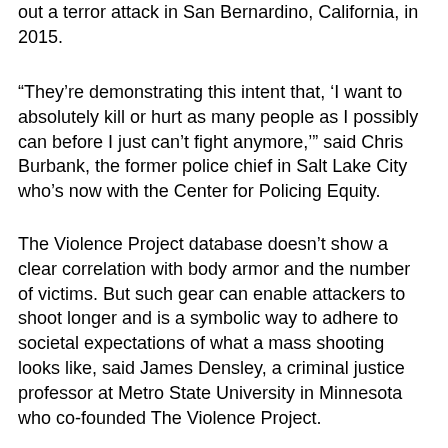out a terror attack in San Bernardino, California, in 2015.
“They’re demonstrating this intent that, ‘I want to absolutely kill or hurt as many people as I possibly can before I just can’t fight anymore,’” said Chris Burbank, the former police chief in Salt Lake City who’s now with the Center for Policing Equity.
The Violence Project database doesn’t show a clear correlation with body armor and the number of victims. But such gear can enable attackers to shoot longer and is a symbolic way to adhere to societal expectations of what a mass shooting looks like, said James Densley, a criminal justice professor at Metro State University in Minnesota who co-founded The Violence Project.
“A mass shooting is intended to be a final act — you don’t get away with a mass shooting,” Densley said. “So it’s meant to be a big spectacle, and it’s meant to have people pay attention and to notice it. One of the ways you